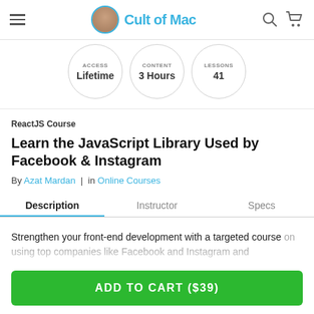Cult of Mac
ACCESS Lifetime | CONTENT 3 Hours | LESSONS 41
ReactJS Course
Learn the JavaScript Library Used by Facebook & Instagram
By Azat Mardan | in Online Courses
Description | Instructor | Specs
Strengthen your front-end development with a targeted course
ADD TO CART ($39)